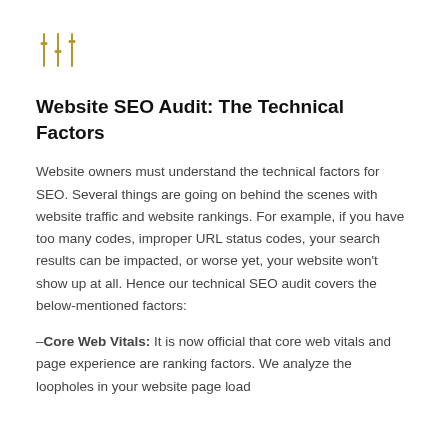[Figure (logo): Golden/yellow slider/filter icon (three vertical sliders with horizontal adjustment bars) representing settings or filters]
Website SEO Audit: The Technical Factors
Website owners must understand the technical factors for SEO. Several things are going on behind the scenes with website traffic and website rankings. For example, if you have too many codes, improper URL status codes, your search results can be impacted, or worse yet, your website won't show up at all. Hence our technical SEO audit covers the below-mentioned factors:
–Core Web Vitals: It is now official that core web vitals and page experience are ranking factors. We analyze the loopholes in your website page load